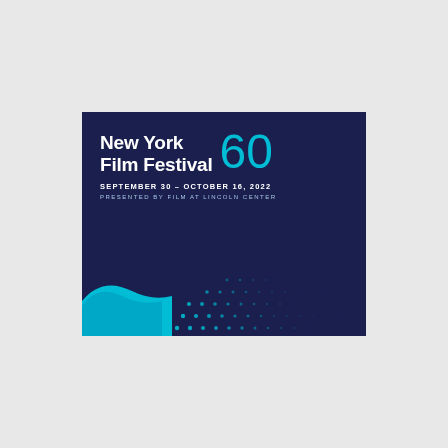[Figure (logo): New York Film Festival 60 logo on dark navy background with cyan wave/dot pattern at bottom. Text reads: 'New York Film Festival 60', 'SEPTEMBER 30 - OCTOBER 16, 2022', 'PRESENTED BY FILM AT LINCOLN CENTER']